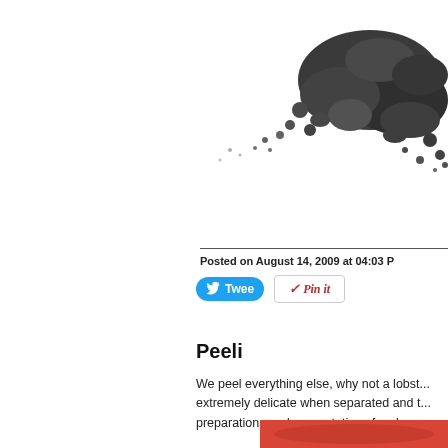[Figure (photo): Dark granular powder/soil scattered on white background, upper right corner of page]
Posted on August 14, 2009 at 04:03 P
[Figure (other): Tweet button (blue) and Pin it button (white with red text)]
Peeli...
We peel everything else, why not a lobst... extremely delicate when separated and t... preparations and presentations for claw m... coming.
[Figure (photo): Partial photo at bottom showing red food item (lobster meat)]